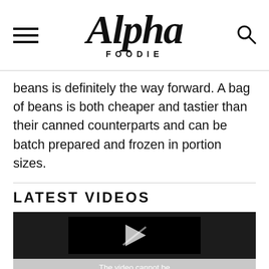Alpha Foodie
beans is definitely the way forward. A bag of beans is both cheaper and tastier than their canned counterparts and can be batch prepared and frozen in portion sizes.
LATEST VIDEOS
[Figure (other): Video player thumbnail showing a play button on a dark background with text 'The video cannot be' visible at the bottom]